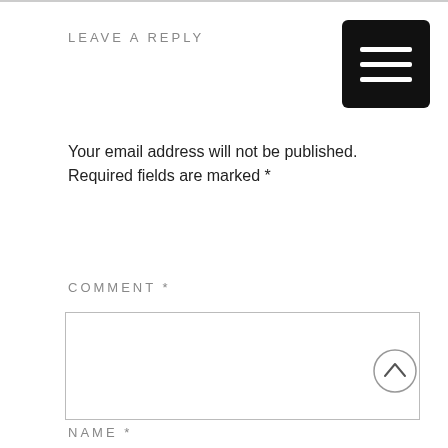LEAVE A REPLY
[Figure (illustration): Black square menu/hamburger icon button with three white horizontal bars, positioned in the top-right corner]
Your email address will not be published. Required fields are marked *
COMMENT *
[Figure (screenshot): Empty comment text area input box with light grey border]
[Figure (illustration): Circular scroll-to-top button with an upward-pointing chevron/caret arrow]
NAME *